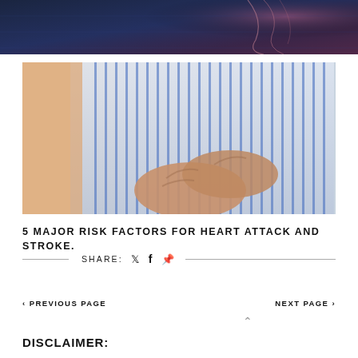[Figure (photo): Dark blue/purple background with pink/red neural or vascular imagery at top]
[Figure (photo): Elderly person in blue and white striped shirt clutching chest with both hands, suggesting heart attack or chest pain]
5 MAJOR RISK FACTORS FOR HEART ATTACK AND STROKE.
SHARE: ♥ f P
‹ PREVIOUS PAGE
NEXT PAGE ›
DISCLAIMER: